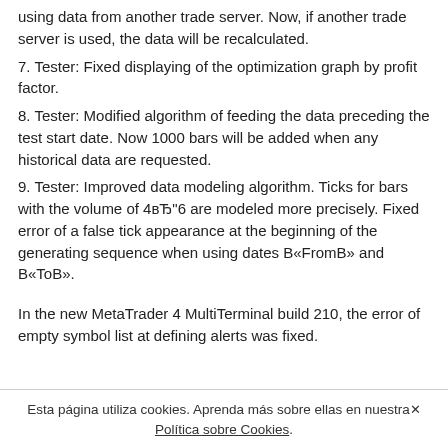using data from another trade server. Now, if another trade server is used, the data will be recalculated.
7. Tester: Fixed displaying of the optimization graph by profit factor.
8. Tester: Modified algorithm of feeding the data preceding the test start date. Now 1000 bars will be added when any historical data are requested.
9. Tester: Improved data modeling algorithm. Ticks for bars with the volume of 4вЂ"6 are modeled more precisely. Fixed error of a false tick appearance at the beginning of the generating sequence when using dates В«FromВ» and В«ToВ».
In the new MetaTrader 4 MultiTerminal build 210, the error of empty symbol list at defining alerts was fixed.
Esta página utiliza cookies. Aprenda más sobre ellas en nuestra Política sobre Cookies.